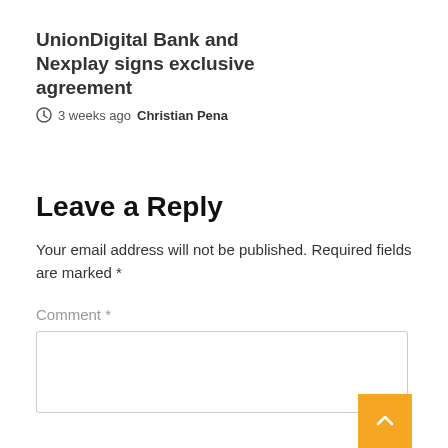UnionDigital Bank and Nexplay signs exclusive agreement
3 weeks ago  Christian Pena
Leave a Reply
Your email address will not be published. Required fields are marked *
Comment *